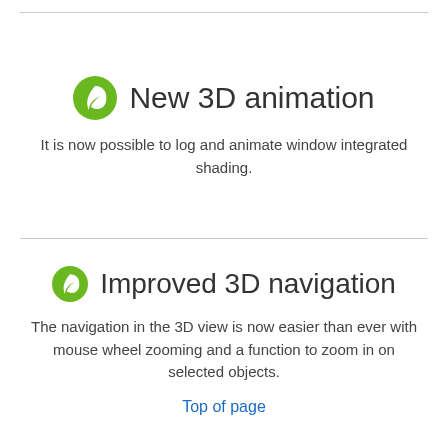New 3D animation
It is now possible to log and animate window integrated shading.
Improved 3D navigation
The navigation in the 3D view is now easier than ever with mouse wheel zooming and a function to zoom in on selected objects.
Top of page